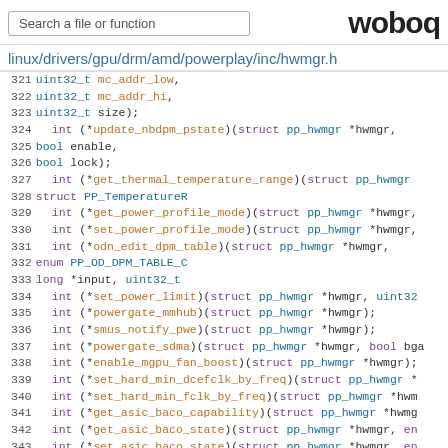Search a file or function | woboq
linux/drivers/gpu/drm/amd/powerplay/inc/hwmgr.h
321-346: C source code lines showing struct function pointer declarations in hwmgr.h